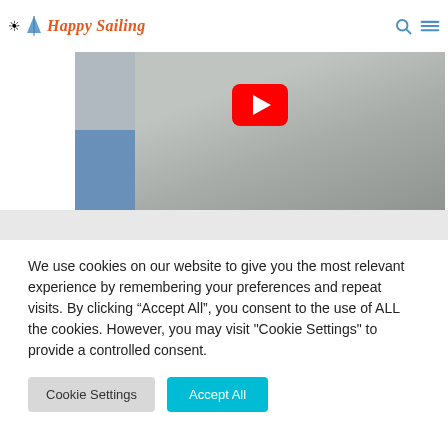Happy Sailing
[Figure (screenshot): Video thumbnail showing a YouTube-style play button (red rectangle with white triangle) over a blurred image of a hand writing or drawing on paper, with a blue element in the lower left corner. Header text partially visible at top.]
We use cookies on our website to give you the most relevant experience by remembering your preferences and repeat visits. By clicking “Accept All”, you consent to the use of ALL the cookies. However, you may visit "Cookie Settings" to provide a controlled consent.
Cookie Settings    Accept All